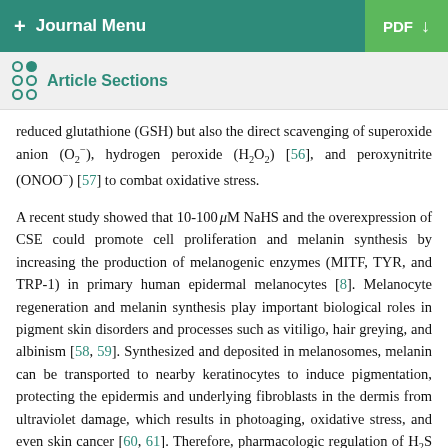+ Journal Menu   PDF ↓
Article Sections
reduced glutathione (GSH) but also the direct scavenging of superoxide anion (O₂⁻), hydrogen peroxide (H₂O₂) [56], and peroxynitrite (ONOO⁻) [57] to combat oxidative stress.
A recent study showed that 10-100 μM NaHS and the overexpression of CSE could promote cell proliferation and melanin synthesis by increasing the production of melanogenic enzymes (MITF, TYR, and TRP-1) in primary human epidermal melanocytes [8]. Melanocyte regeneration and melanin synthesis play important biological roles in pigment skin disorders and processes such as vitiligo, hair greying, and albinism [58, 59]. Synthesized and deposited in melanosomes, melanin can be transported to nearby keratinocytes to induce pigmentation, protecting the epidermis and underlying fibroblasts in the dermis from ultraviolet damage, which results in photoaging, oxidative stress, and even skin cancer [60, 61]. Therefore, pharmacologic regulation of H₂S may be a novel strategy for skin disorders caused by the loss of melanocytes and dysregulation of oxidative